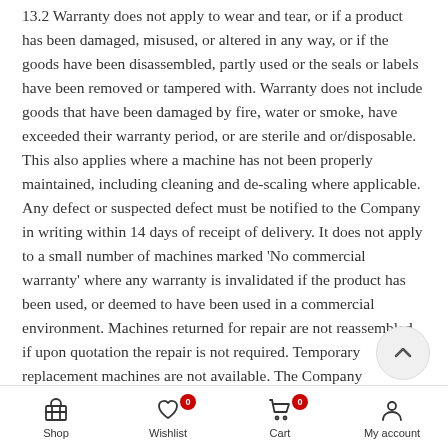13.2 Warranty does not apply to wear and tear, or if a product has been damaged, misused, or altered in any way, or if the goods have been disassembled, partly used or the seals or labels have been removed or tampered with. Warranty does not include goods that have been damaged by fire, water or smoke, have exceeded their warranty period, or are sterile and or/disposable. This also applies where a machine has not been properly maintained, including cleaning and de-scaling where applicable. Any defect or suspected defect must be notified to the Company in writing within 14 days of receipt of delivery. It does not apply to a small number of machines marked 'No commercial warranty' where any warranty is invalidated if the product has been used, or deemed to have been used in a commercial environment. Machines returned for repair are not reassembled if upon quotation the repair is not required. Temporary replacement machines are not available. The Company endeavours to meet The Customer's individual
Shop | Wishlist (0) | Cart (0) | My account